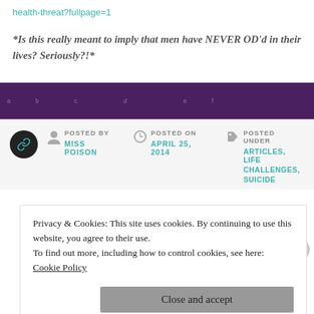health-threat?fullpage=1
*Is this really meant to imply that men have NEVER OD'd in their lives? Seriously?!*
POSTED BY MISS POISON | POSTED ON APRIL 25, 2014 | POSTED UNDER ARTICLES, LIFE CHALLENGES, SUICIDE
Privacy & Cookies: This site uses cookies. By continuing to use this website, you agree to their use.
To find out more, including how to control cookies, see here: Cookie Policy